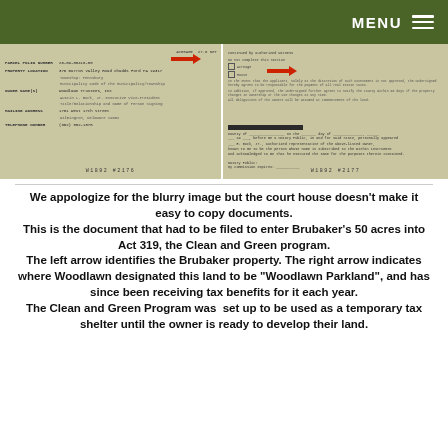MENU ☰
[Figure (photo): Two blurry scanned county document images side by side. The left image shows a property assessment or Clean and Green Act 319 form with fields for Parcel/Folio Number, Property Location, Owner Name, Mailing Address, Telephone Number, with a red arrow pointing to the Brubaker property entry. The right image shows the continuation of the same form or a related document with signatures and a red arrow pointing to a field labeled 'Woodlawn Parkland'. Both images have document reference numbers at the bottom.]
We appologize for the blurry image but the court house doesn't make it easy to copy documents.
This is the document that had to be filed to enter Brubaker's 50 acres into Act 319, the Clean and Green program.
The left arrow identifies the Brubaker property. The right arrow indicates where Woodlawn designated this land to be "Woodlawn Parkland", and has since been receiving tax benefits for it each year.
The Clean and Green Program was  set up to be used as a temporary tax shelter until the owner is ready to develop their land.